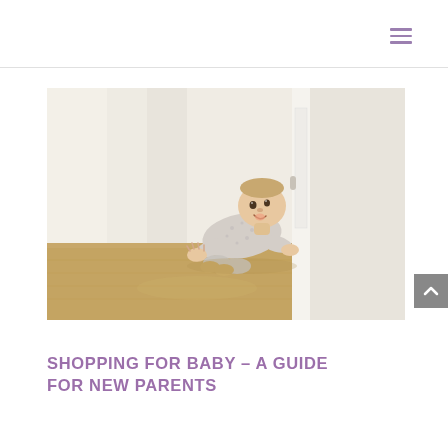[Figure (photo): A smiling baby crawling on a wooden floor near a white door frame, wearing a light patterned onesie. The background is bright and airy with white walls.]
SHOPPING FOR BABY – A GUIDE FOR NEW PARENTS